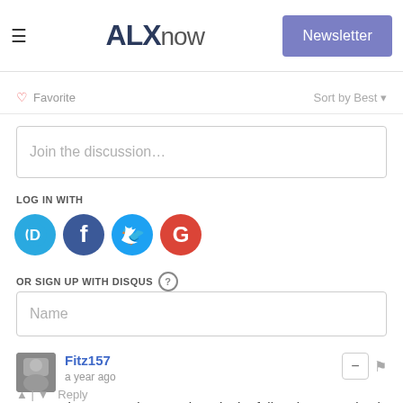ALXnow — Newsletter
Favorite  Sort by Best
Join the discussion...
LOG IN WITH
[Figure (illustration): Social login icons: Disqus (D), Facebook (F), Twitter bird, Google (G)]
OR SIGN UP WITH DISQUS ?
Name
Fitz157
a year ago
Our son is supposed to start here in the fall and I'm surprised to be reading about this move (I knew they were looking for a new place) here instead of hearing from the school first.